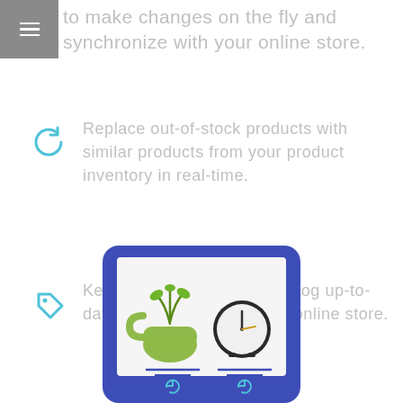to make changes on the fly and synchronize with your online store.
Replace out-of-stock products with similar products from your product inventory in real-time.
Keep the prices in your catalog up-to-date with the prices in your online store.
[Figure (illustration): A tablet device with a blue frame showing product listings including a green planter and a clock, with sync/refresh icon buttons below each product.]